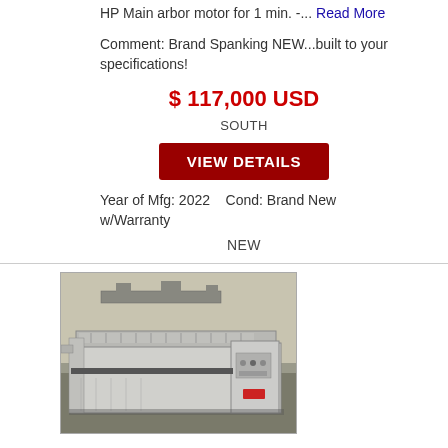HP Main arbor motor for 1 min. -... Read More
Comment: Brand Spanking NEW...built to your specifications!
$ 117,000 USD
SOUTH
VIEW DETAILS
Year of Mfg: 2022    Cond: Brand New w/Warranty
NEW
[Figure (photo): Industrial CNC routing or milling machine in a warehouse/shop setting. The machine has a large flat table bed with conveyor-style rollers, a control panel housing, and is light gray/white in color. Photographed from an angle showing the front and side.]